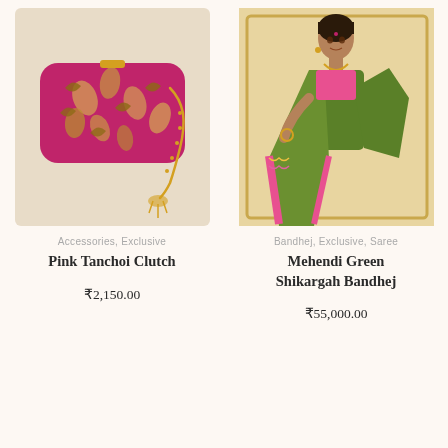[Figure (photo): Pink Tanchoi Clutch bag with gold floral embroidery and gold chain strap, placed on a light surface]
[Figure (photo): Woman wearing Mehendi Green Shikargah Bandhej saree with pink border, standing against a beige background]
Accessories, Exclusive
Pink Tanchoi Clutch
₹2,150.00
Bandhej, Exclusive, Saree
Mehendi Green Shikargah Bandhej
₹55,000.00